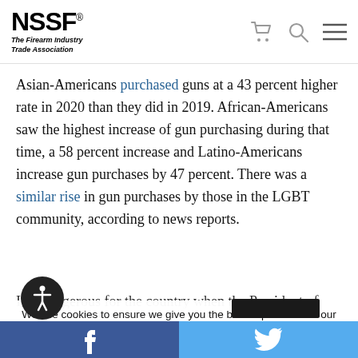[Figure (logo): NSSF - The Firearm Industry Trade Association logo with navigation icons (cart, search, menu)]
Asian-Americans purchased guns at a 43 percent higher rate in 2020 than they did in 2019. African-Americans saw the highest increase of gun purchasing during that time, a 58 percent increase and Latino-Americans increase gun purchases by 47 percent. There was a similar rise in gun purchases by those in the LGBT community, according to news reports.
It is dangerous for the country when the President of
We use cookies to ensure we give you the best experience on our website. By clicking "Accept" or using our website, you consent to the use of cookies unless you have disabled them.